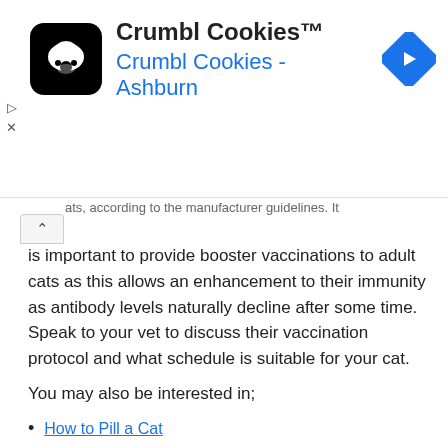[Figure (other): Crumbl Cookies advertisement banner with logo, title 'Crumbl Cookies™', subtitle 'Crumbl Cookies - Ashburn', and navigation arrow icon]
ats, according to the manufacturer guidelines. It is important to provide booster vaccinations to adult cats as this allows an enhancement to their immunity as antibody levels naturally decline after some time. Speak to your vet to discuss their vaccination protocol and what schedule is suitable for your cat.
You may also be interested in;
How to Pill a Cat
Fact vs Myth: Vaccines
Vaccines for pets... What, why and how often?
Chronic kidney disease in cats